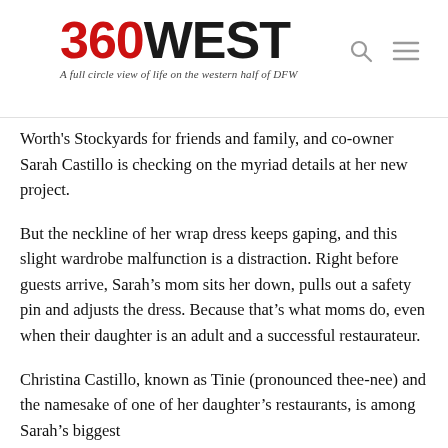360WEST — A full circle view of life on the western half of DFW
Worth's Stockyards for friends and family, and co-owner Sarah Castillo is checking on the myriad details at her new project.
But the neckline of her wrap dress keeps gaping, and this slight wardrobe malfunction is a distraction. Right before guests arrive, Sarah's mom sits her down, pulls out a safety pin and adjusts the dress. Because that's what moms do, even when their daughter is an adult and a successful restaurateur.
Christina Castillo, known as Tinie (pronounced thee-nee) and the namesake of one of her daughter's restaurants, is among Sarah's biggest